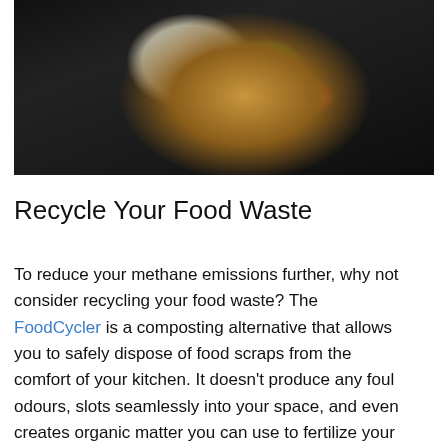[Figure (photo): A hand holding food scraps including vegetable peels, cucumber slices, and a green pepper over dark soil/compost.]
Recycle Your Food Waste
To reduce your methane emissions further, why not consider recycling your food waste? The FoodCycler is a composting alternative that allows you to safely dispose of food scraps from the comfort of your kitchen. It doesn’t produce any foul odours, slots seamlessly into your space, and even creates organic matter you can use to fertilize your plants.